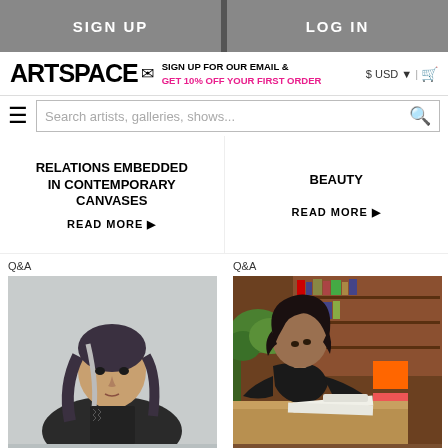SIGN UP | LOG IN
ARTSPACE — SIGN UP FOR OUR EMAIL & GET 10% OFF YOUR FIRST ORDER — $ USD | cart
Search artists, galleries, shows...
RELATIONS EMBEDDED IN CONTEMPORARY CANVASES
READ MORE ▶
BEAUTY
READ MORE ▶
Q&A
[Figure (photo): Woman with gray-streaked hair in dark jacket against light gray background]
Q&A
[Figure (photo): Woman with dark curly hair writing at a desk in a room with bookshelves and orange storage boxes]